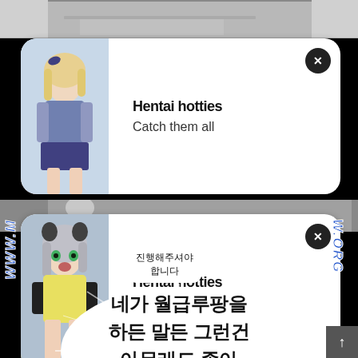[Figure (illustration): Top strip showing manga/comic artwork in grayscale]
[Figure (illustration): Advertisement notification card 1 with anime character image on left, bold text 'Hentai hotties' and 'Catch them all' on right, close button top right]
[Figure (illustration): Mid manga strip in grayscale]
[Figure (illustration): Advertisement notification card 2 with anime character image on left, bold text 'Hentai hotties' and 'Catch them all' on right, close button top right]
진행해주셔야 합니다
네가 월급루팡을 하든 말든 그런건 아무래도 좋아